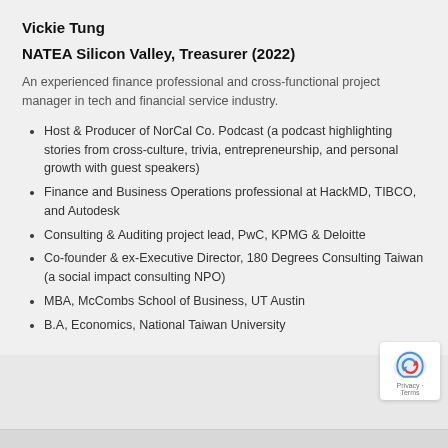Vickie Tung
NATEA Silicon Valley, Treasurer (2022)
An experienced finance professional and cross-functional project manager in tech and financial service industry.
Host & Producer of NorCal Co. Podcast (a podcast highlighting stories from cross-culture, trivia, entrepreneurship, and personal growth with guest speakers)
Finance and Business Operations professional at HackMD, TIBCO, and Autodesk
Consulting & Auditing project lead, PwC, KPMG & Deloitte
Co-founder & ex-Executive Director, 180 Degrees Consulting Taiwan (a social impact consulting NPO)
MBA, McCombs School of Business, UT Austin
B.A, Economics, National Taiwan University